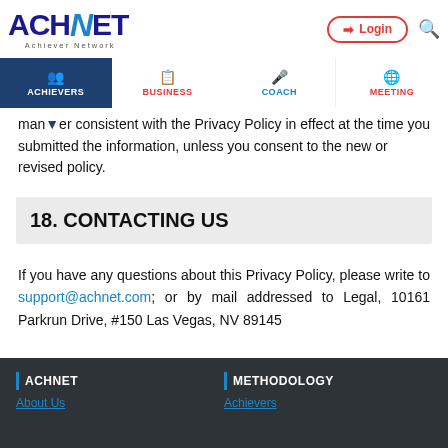ACHNET Achiever Network | Login | Search
ACHIEVERS | BUSINESS | COACH | MEETING
manner consistent with the Privacy Policy in effect at the time you submitted the information, unless you consent to the new or revised policy.
18. CONTACTING US
If you have any questions about this Privacy Policy, please write to support@achnet.com; or by mail addressed to Legal, 10161 Parkrun Drive, #150 Las Vegas, NV 89145
ACHNET | About Us | METHODOLOGY | Achievers